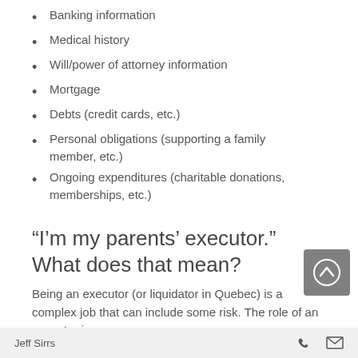Banking information
Medical history
Will/power of attorney information
Mortgage
Debts (credit cards, etc.)
Personal obligations (supporting a family member, etc.)
Ongoing expenditures (charitable donations, memberships, etc.)
“I’m my parents’ executor.” What does that mean?
Being an executor (or liquidator in Quebec) is a complex job that can include some risk. The role of an executor is...
Jeff Sirrs